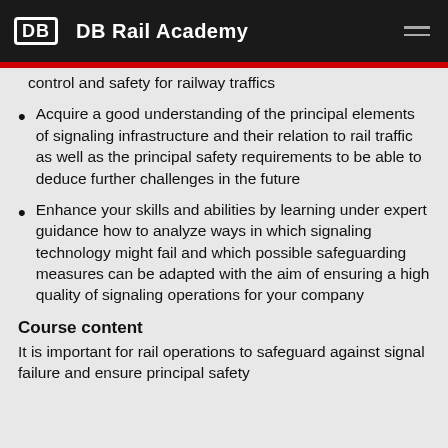DB Rail Academy
control and safety for railway traffics
Acquire a good understanding of the principal elements of signaling infrastructure and their relation to rail traffic as well as the principal safety requirements to be able to deduce further challenges in the future
Enhance your skills and abilities by learning under expert guidance how to analyze ways in which signaling technology might fail and which possible safeguarding measures can be adapted with the aim of ensuring a high quality of signaling operations for your company
Course content
It is important for rail operations to safeguard against signal failure and ensure principal safety